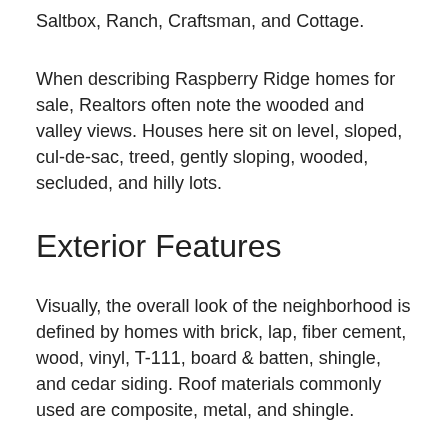Saltbox, Ranch, Craftsman, and Cottage.
When describing Raspberry Ridge homes for sale, Realtors often note the wooded and valley views. Houses here sit on level, sloped, cul-de-sac, treed, gently sloping, wooded, secluded, and hilly lots.
Exterior Features
Visually, the overall look of the neighborhood is defined by homes with brick, lap, fiber cement, wood, vinyl, T-111, board & batten, shingle, and cedar siding. Roof materials commonly used are composite, metal, and shingle.
Outside the main residence, properties could also likely